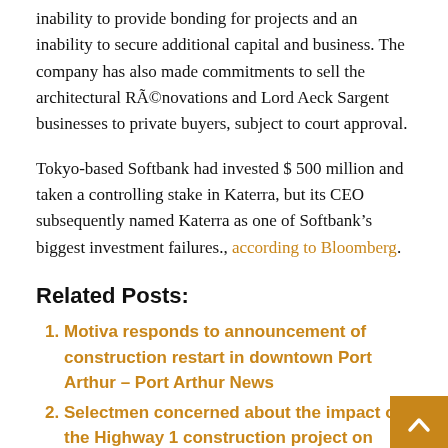inability to provide bonding for projects and an inability to secure additional capital and business. The company has also made commitments to sell the architectural Rénovations and Lord Aeck Sargent businesses to private buyers, subject to court approval.
Tokyo-based Softbank had invested $ 500 million and taken a controlling stake in Katerra, but its CEO subsequently named Katerra as one of Softbank's biggest investment failures., according to Bloomberg.
Related Posts:
Motiva responds to announcement of construction restart in downtown Port Arthur – Port Arthur News
Selectmen concerned about the impact of the Highway 1 construction project on safety
Closure of part of Taft Boulevard for construction
PM Modi inspects the construction site of the new Parliament building in the late evening